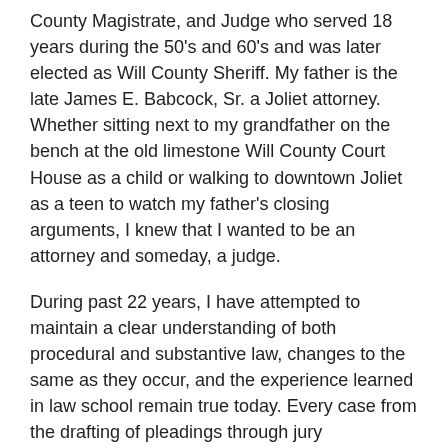County Magistrate, and Judge who served 18 years during the 50's and 60's and was later elected as Will County Sheriff. My father is the late James E. Babcock, Sr. a Joliet attorney. Whether sitting next to my grandfather on the bench at the old limestone Will County Court House as a child or walking to downtown Joliet as a teen to watch my father's closing arguments, I knew that I wanted to be an attorney and someday, a judge.
During past 22 years, I have attempted to maintain a clear understanding of both procedural and substantive law, changes to the same as they occur, and the experience learned in law school remain true today. Every case from the drafting of pleadings through jury instructions begins with a clear understanding of the law to be applied to a case. I am a busy litigator, with a diverse practice and often deal with complex litigation. Despite this and what is often a hectic schedule, I attempt to remain on time and do not engage in personal attacks no matter how much unrestraint an opponent may have. I stay in contact with my opponents to minimize wasting the Court's time and I speak with candor. My opponents, the courtroom staff, clerks and deputies are